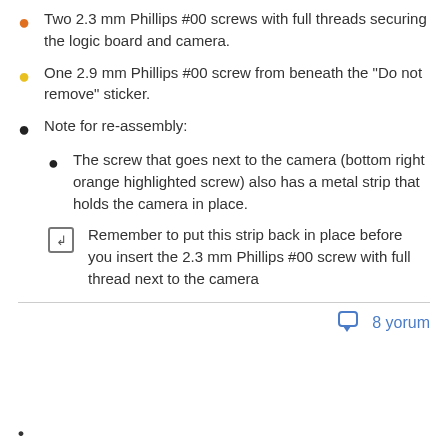Two 2.3 mm Phillips #00 screws with full threads securing the logic board and camera.
One 2.9 mm Phillips #00 screw from beneath the "Do not remove" sticker.
Note for re-assembly:
The screw that goes next to the camera (bottom right orange highlighted screw) also has a metal strip that holds the camera in place.
Remember to put this strip back in place before you insert the 2.3 mm Phillips #00 screw with full thread next to the camera
8 yorum